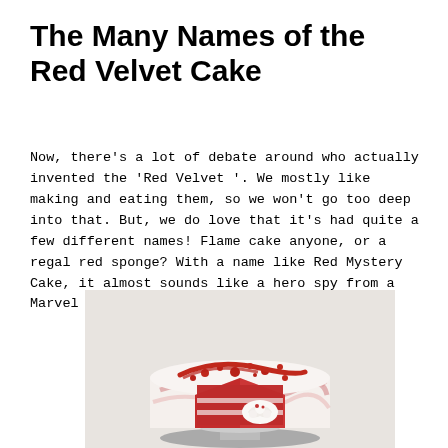The Many Names of the Red Velvet Cake
Now, there's a lot of debate around who actually invented the 'Red Velvet '. We mostly like making and eating them, so we won't go too deep into that. But, we do love that it's had quite a few different names! Flame cake anyone, or a regal red sponge? With a name like Red Mystery Cake, it almost sounds like a hero spy from a Marvel comic.
[Figure (photo): A red velvet cake with white cream cheese frosting and red velvet crumbs on top, with a slice being pulled away showing the bright red interior cake layers, placed on a silver cake stand.]